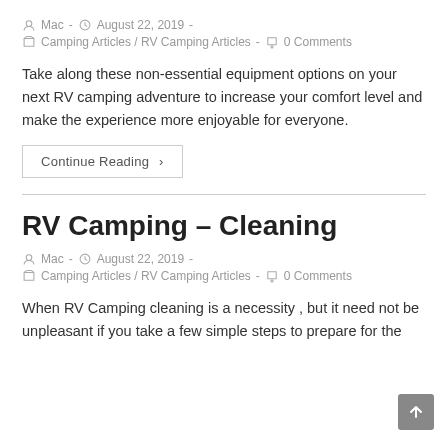Mac · August 22, 2019 · Camping Articles / RV Camping Articles · 0 Comments
Take along these non-essential equipment options on your next RV camping adventure to increase your comfort level and make the experience more enjoyable for everyone.
Continue Reading ›
RV Camping – Cleaning
Mac · August 22, 2019 · Camping Articles / RV Camping Articles · 0 Comments
When RV Camping cleaning is a necessity , but it need not be unpleasant if you take a few simple steps to prepare for the